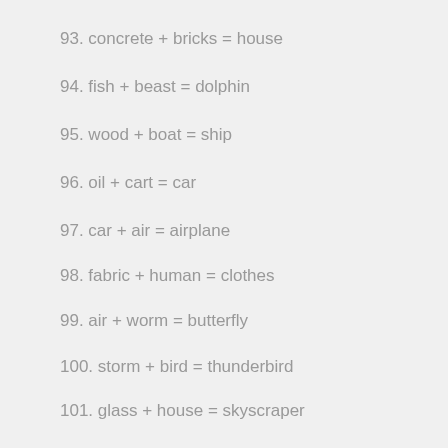93. concrete + bricks = house
94. fish + beast = dolphin
95. wood + boat = ship
96. oil + cart = car
97. car + air = airplane
98. fabric + human = clothes
99. air + worm = butterfly
100. storm + bird = thunderbird
101. glass + house = skyscraper
102. domestic animal + grass = milk + fertilizer